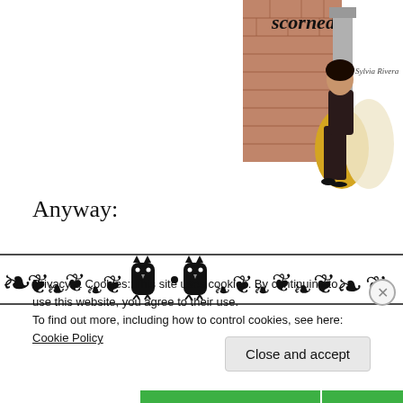[Figure (illustration): Illustration of a woman in a yellow and cream dress leaning against a brick wall. Text reads 'scorned.' with an artist signature 'Sylvia Rivera' and a Chinese character watermark.]
Anyway:
[Figure (illustration): Decorative horizontal border made of floral/vine ornaments with two black owl/cat silhouettes in the center.]
Privacy & Cookies: This site uses cookies. By continuing to use this website, you agree to their use.
To find out more, including how to control cookies, see here: Cookie Policy
Close and accept